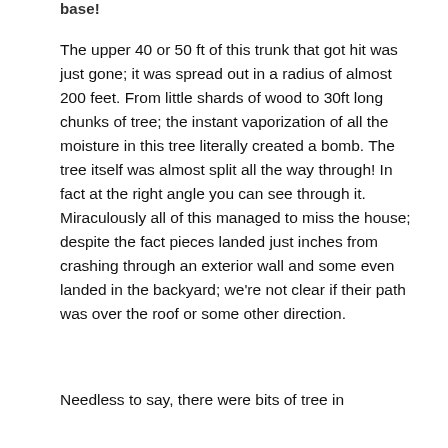base!
The upper 40 or 50 ft of this trunk that got hit was just gone; it was spread out in a radius of almost 200 feet. From little shards of wood to 30ft long chunks of tree; the instant vaporization of all the moisture in this tree literally created a bomb. The tree itself was almost split all the way through! In fact at the right angle you can see through it. Miraculously all of this managed to miss the house; despite the fact pieces landed just inches from crashing through an exterior wall and some even landed in the backyard; we're not clear if their path was over the roof or some other direction.
Needless to say, there were bits of tree in